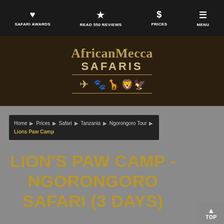SAFARI AWARDS | READ 550 REVIEWS | PRICES | MENU
[Figure (logo): AfricanMecca Safaris logo with text 'AfricanMecca SAFARIS' and safari animal icons (plane, paw, giraffe, lion, bird) in gold on dark brown background]
Home ▶ Prices ▶ Safari ▶ Tanzania ▶ Ngorongoro Tour ▶ Lions Paw Camp
LION'S PAW CAMP - NGORONGORO SAFARI (3 DAYS)